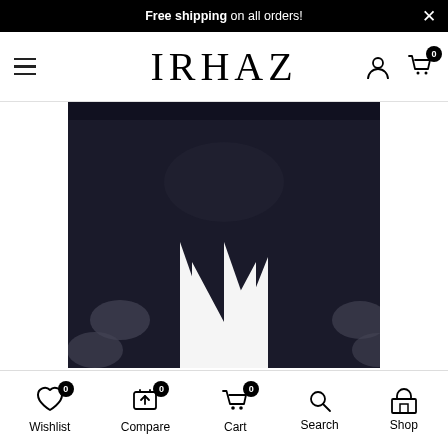Free shipping on all orders!
IRHAZ
[Figure (photo): Close-up photo of black leggings/shorts with subtle circular reflective dot pattern details on the lower sides, worn on a model, white background]
Wishlist 0 | Compare 0 | Cart 0 | Search | Shop